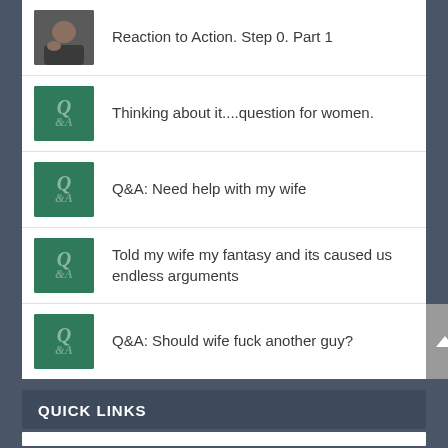Reaction to Action. Step 0. Part 1
Thinking about it....question for women.
Q&A: Need help with my wife
Told my wife my fantasy and its caused us endless arguments
Q&A: Should wife fuck another guy?
QUICK LINKS